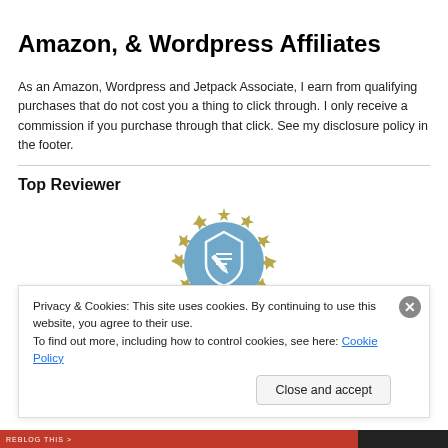Amazon, & Wordpress Affiliates
As an Amazon, Wordpress and Jetpack Associate, I earn from qualifying purchases that do not cost you a thing to click through. I only receive a commission if you purchase through that click. See my disclosure policy in the footer.
Top Reviewer
[Figure (logo): Top Reviewer badge: a blue circle with a pencil/shield icon, surrounded by gold stars, with 'TOP REVIEWER' text below]
Privacy & Cookies: This site uses cookies. By continuing to use this website, you agree to their use. To find out more, including how to control cookies, see here: Cookie Policy
Close and accept